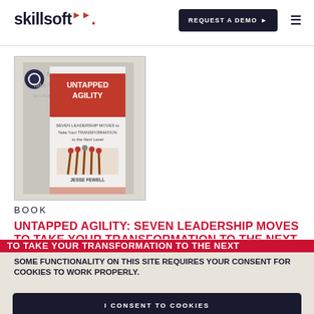skillsoft
REQUEST A DEMO
[Figure (illustration): Book cover for 'Untapped Agility: Seven Leadership Moves to Take Your Transformation to the Next Level' by Jesse Fewell, showing the title in red and white on a light background with an image of matches.]
BOOK
UNTAPPED AGILITY: SEVEN LEADERSHIP MOVES TO TAKE YOUR TRANSFORMATION TO THE NEXT...
SOME FUNCTIONALITY ON THIS SITE REQUIRES YOUR CONSENT FOR COOKIES TO WORK PROPERLY.
I CONSENT TO COOKIES
I WANT MORE INFORMATION